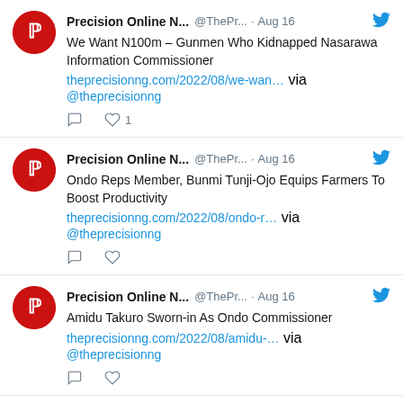Precision Online N... @ThePr... · Aug 16 — We Want N100m – Gunmen Who Kidnapped Nasarawa Information Commissioner theprecisionng.com/2022/08/we-wan… via @theprecisionng
Precision Online N... @ThePr... · Aug 16 — Ondo Reps Member, Bunmi Tunji-Ojo Equips Farmers To Boost Productivity theprecisionng.com/2022/08/ondo-r… via @theprecisionng
Precision Online N... @ThePr... · Aug 16 — Amidu Takuro Sworn-in As Ondo Commissioner theprecisionng.com/2022/08/amidu-… via @theprecisionng